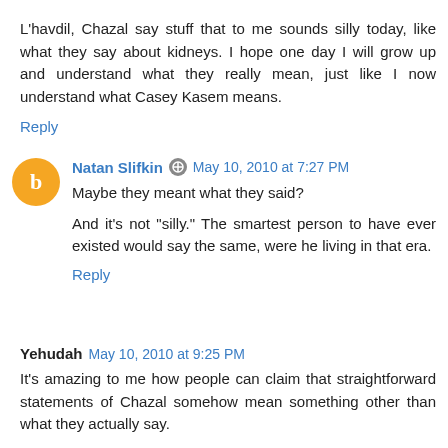L'havdil, Chazal say stuff that to me sounds silly today, like what they say about kidneys. I hope one day I will grow up and understand what they really mean, just like I now understand what Casey Kasem means.
Reply
Natan Slifkin  May 10, 2010 at 7:27 PM
Maybe they meant what they said?
And it's not "silly." The smartest person to have ever existed would say the same, were he living in that era.
Reply
Yehudah  May 10, 2010 at 9:25 PM
It's amazing to me how people can claim that straightforward statements of Chazal somehow mean something other than what they actually say.